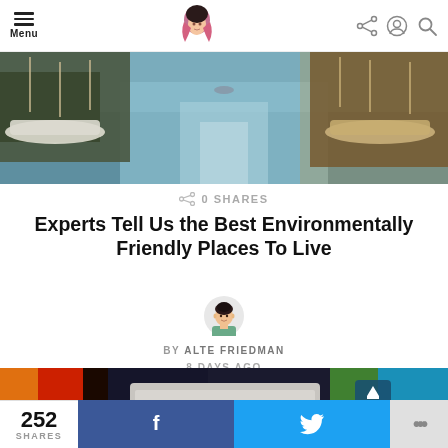Menu | [logo] | [share icon] [user icon] [search icon]
[Figure (photo): Canal or harbor with boats moored on both sides, water in the center reflecting sky]
0 SHARES
Experts Tell Us the Best Environmentally Friendly Places To Live
[Figure (illustration): Cartoon avatar of author Alte Friedman — person with dark hair]
BY ALTE FRIEDMAN
8 DAYS AGO
[Figure (photo): Colorful folded t-shirts stacked on display with orange, red, dark, grey, green and blue colors]
252 SHARES | [Facebook share button] | [Twitter share button] | ...